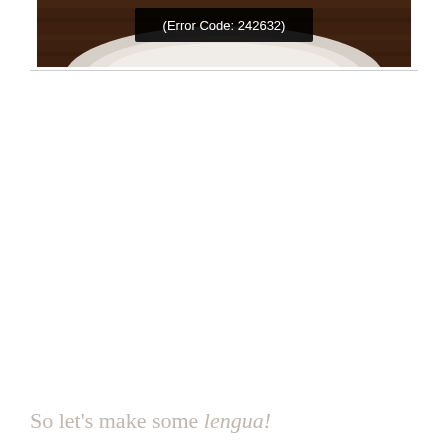[Figure (photo): Partial photo of a white ceramic plate/bowl on a wooden surface, with a black error overlay box showing '(Error Code: 242632)' in white text]
So let's make some lengua!